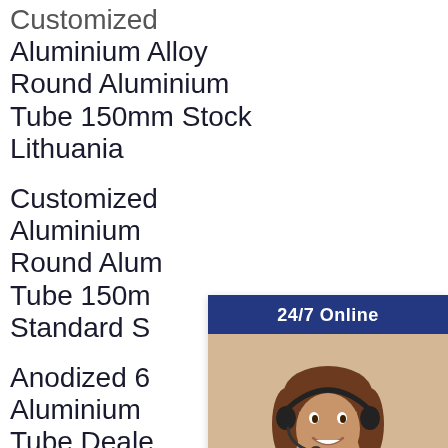Customized Aluminium Alloy Round Aluminium Tube 150mm Stock Lithuania
Customized Aluminium Alloy Round Aluminium Tube 150mm Standard S
Anodized 6 Aluminium Tube Dealer Mauritania
Customized Aluminium Alloy Round Aluminium
[Figure (illustration): Customer service chat widget with a woman wearing a headset, '24/7 Online' header, 'Have any requests, click here.' message, and 'Quotation' button]